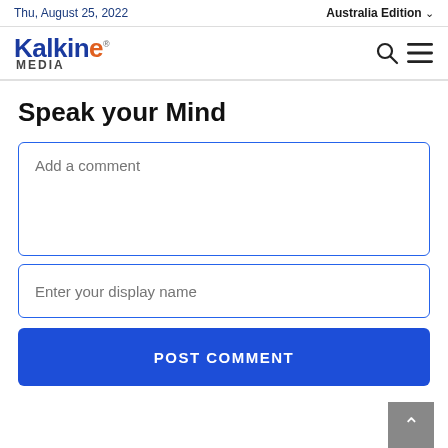Thu, August 25, 2022 | Australia Edition
[Figure (logo): Kalkine Media logo — 'Kalkine' in bold blue with orange stylized 'e', 'MEDIA' in dark grey below]
Speak your Mind
Add a comment
Enter your display name
POST COMMENT